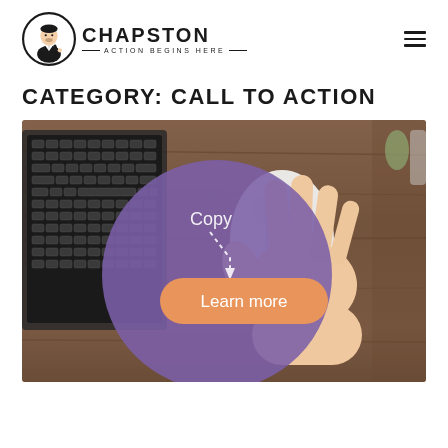CHAPSTON — ACTION BEGINS HERE —
CATEGORY: CALL TO ACTION
[Figure (photo): Photo of a person's hand on a white computer mouse on a wooden desk with a laptop keyboard visible. A large purple circle overlay contains the word 'Copy' with a dotted arrow pointing to an orange rounded rectangle button labeled 'Learn more'.]